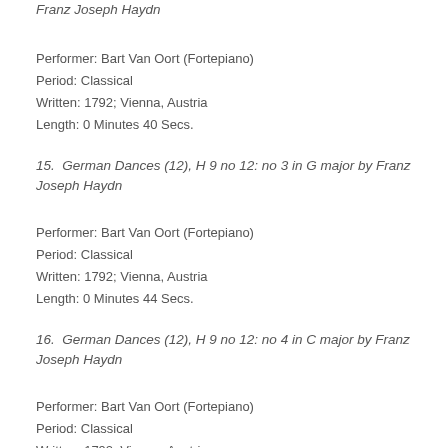Franz Joseph Haydn
Performer: Bart Van Oort (Fortepiano)
Period: Classical
Written: 1792; Vienna, Austria
Length: 0 Minutes 40 Secs.
15.  German Dances (12), H 9 no 12: no 3 in G major by Franz Joseph Haydn
Performer: Bart Van Oort (Fortepiano)
Period: Classical
Written: 1792; Vienna, Austria
Length: 0 Minutes 44 Secs.
16.  German Dances (12), H 9 no 12: no 4 in C major by Franz Joseph Haydn
Performer: Bart Van Oort (Fortepiano)
Period: Classical
Written: 1792; Vienna, Austria